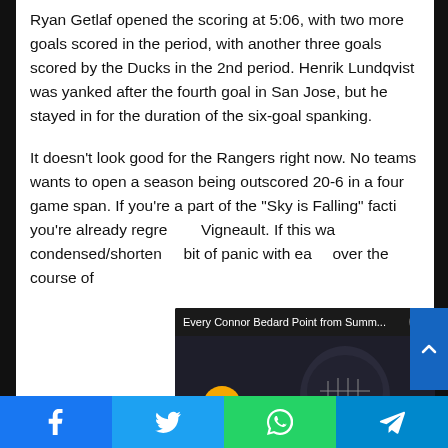Ryan Getlaf opened the scoring at 5:06, with two more goals scored in the period, with another three goals scored by the Ducks in the 2nd period. Henrik Lundqvist was yanked after the fourth goal in San Jose, but he stayed in for the duration of the six-goal spanking.
It doesn’t look good for the Rangers right now. No teams wants to open a season being outscored 20-6 in a four game span. If you’re a part of the “Sky is Falling” faction, you’re already regretting Vigneault. If this was a condensed/shortened bit of panic with each over the course of
[Figure (screenshot): Video overlay popup showing 'Every Connor Bedard Point from Summ...' with a close button (X), a goal banner scorecard, a hockey player wearing a helmet with face cage, and a yellow mute button]
Social share bar with Facebook, Twitter, WhatsApp, and Telegram buttons